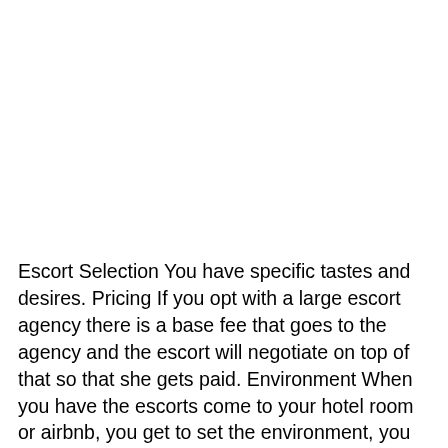Escort Selection You have specific tastes and desires. Pricing If you opt with a large escort agency there is a base fee that goes to the agency and the escort will negotiate on top of that so that she gets paid. Environment When you have the escorts come to your hotel room or airbnb, you get to set the environment, you control how many people are there, what kind of music is playing, and how loud. Hiring Girls from Classified Sites or Directories One of the more popular places to find escorts in Las Vegas is on classified sites and adult